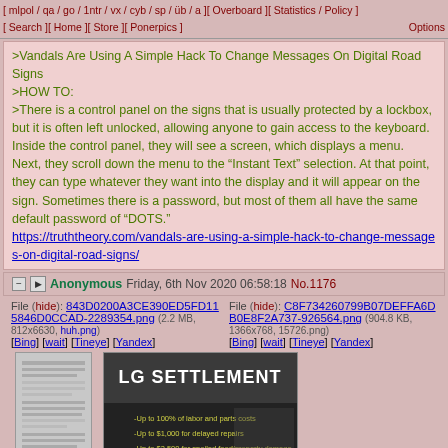[ mlpol / qa / go / 1ntr / vx / cyb / sp / üb / a ][ Overboard ][ Statistics / Policy ] [ Search ][ Home ][ Store ][ Ponerpics ] Options
>Vandals Are Using A Simple Hack To Change Messages On Digital Road Signs
>HOW TO:
>There is a control panel on the signs that is usually protected by a lockbox, but it is often left unlocked, allowing anyone to gain access to the keyboard. Inside the control panel, they will see a screen, which displays a menu. Next, they scroll down the menu to the "Instant Text" selection. At that point, they can type whatever they want into the display and it will appear on the sign. Sometimes there is a password, but most of them all have the same default password of "DOTS."
https://truththeory.com/vandals-are-using-a-simple-hack-to-change-messages-on-digital-road-signs/
Anonymous Friday, 6th Nov 2020 06:58:18 No.1176
File (hide): 843D0200A3CE390ED5FD115846D0CCAD-2289354.png (2.2 MB, 812x6630, huh.png) [Bing] [wait] [Tineye] [Yandex]
File (hide): C8F734260799B07DEFFA6DB0E8F2A737-926564.png (904.8 KB, 1366x768, 15726.png) [Bing] [wait] [Tineye] [Yandex]
[Figure (screenshot): Thumbnail of a long document page (huh.png)]
[Figure (screenshot): LG Settlement advertisement image with text 'LG SETTLEMENT' and bullet points about labor costs, delayed repairs, and spoiled food/property damage]